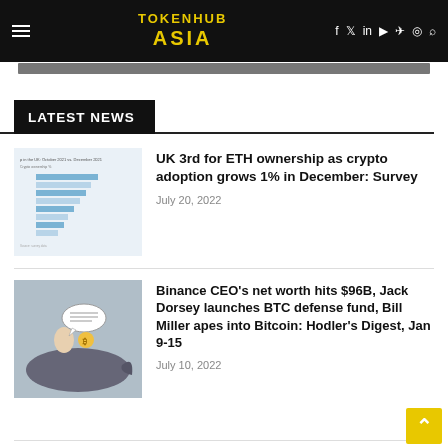TOKENHUB ASIA — navigation header with menu, logo, and social icons
LATEST NEWS
[Figure (screenshot): Small horizontal bar chart thumbnail showing UK crypto ownership data, October 2021 vs December 2021]
UK 3rd for ETH ownership as crypto adoption grows 1% in December: Survey
July 20, 2022
[Figure (illustration): Cartoon illustration of a person in a suit riding a whale, with a speech bubble, representing Binance/Bitcoin news]
Binance CEO's net worth hits $96B, Jack Dorsey launches BTC defense fund, Bill Miller apes into Bitcoin: Hodler's Digest, Jan 9-15
July 10, 2022